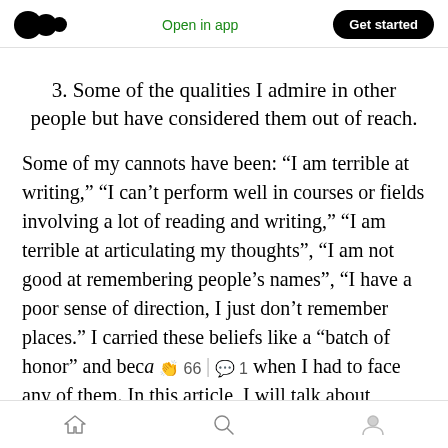Open in app | Get started
3. Some of the qualities I admire in other people but have considered them out of reach.
Some of my cannots have been: “I am terrible at writing,” “I can’t perform well in courses or fields involving a lot of reading and writing,” “I am terrible at articulating my thoughts”, “I am not good at remembering people’s names”, “I have a poor sense of direction, I just don’t remember places.” I carried these beliefs like a “batch of honor” and beca 👏 66 | 💬 1 when I had to face any of them. In this article, I will talk about
Home | Search | Profile